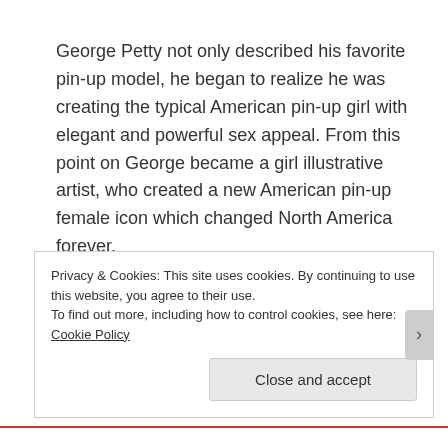George Petty not only described his favorite pin-up model, he began to realize he was creating the typical American pin-up girl with elegant and powerful sex appeal. From this point on George became a girl illustrative artist, who created a new American pin-up female icon which changed North America forever.
Privacy & Cookies: This site uses cookies. By continuing to use this website, you agree to their use.
To find out more, including how to control cookies, see here: Cookie Policy